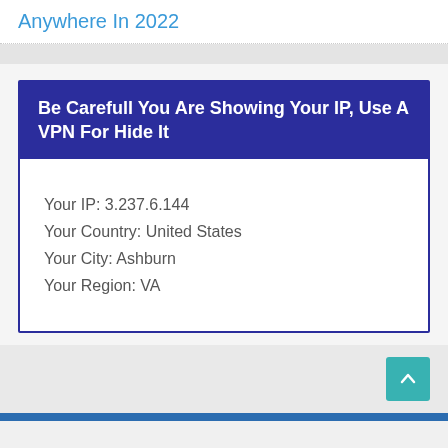Anywhere In 2022
Be Carefull You Are Showing Your IP, Use A VPN For Hide It
Your IP: 3.237.6.144
Your Country: United States
Your City: Ashburn
Your Region: VA